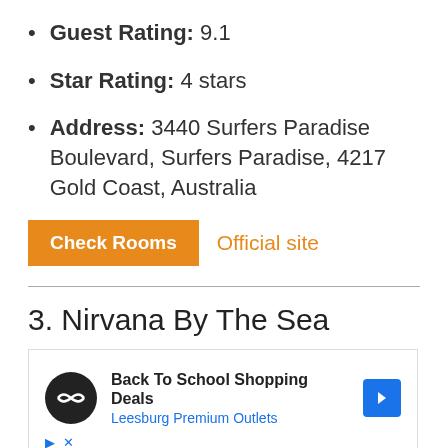Guest Rating: 9.1
Star Rating: 4 stars
Address: 3440 Surfers Paradise Boulevard, Surfers Paradise, 4217 Gold Coast, Australia
Check Rooms   Official site
3. Nirvana By The Sea
[Figure (other): Advertisement banner: Back To School Shopping Deals, Leesburg Premium Outlets]